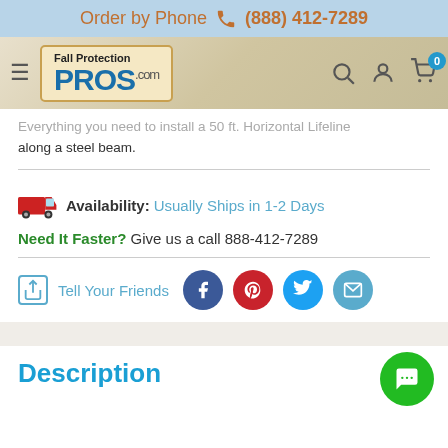Order by Phone (888) 412-7289
[Figure (logo): Fall Protection Pros .com logo with navigation bar including hamburger menu, search, account, and cart icons]
Everything you need to install a 50 ft. Horizontal Lifeline along a steel beam.
Availability: Usually Ships in 1-2 Days
Need It Faster? Give us a call 888-412-7289
Tell Your Friends
Description